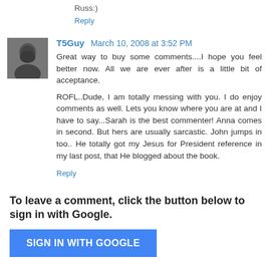Russ:)
Reply
[Figure (photo): Avatar photo of T5Guy, a man with dark hair]
T5Guy  March 10, 2008 at 3:52 PM
Great way to buy some comments....I hope you feel better now. All we are ever after is a little bit of acceptance.
ROFL..Dude, I am totally messing with you. I do enjoy comments as well. Lets you know where you are at and I have to say...Sarah is the best commenter! Anna comes in second. But hers are usually sarcastic. John jumps in too.. He totally got my Jesus for President reference in my last post, that He blogged about the book.
Reply
To leave a comment, click the button below to sign in with Google.
SIGN IN WITH GOOGLE